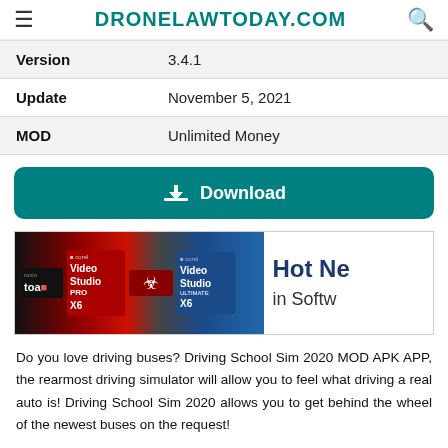≡  DRONELAWTODAY.COM  🔍
| Field | Value |
| --- | --- |
| Version | 3.4.1 |
| Update | November 5, 2021 |
| MOD | Unlimited Money |
⬇ Download
[Figure (photo): Advertisement banner showing Corel software products including Roxio Toast, Video Studio Pro X6, a biohazard symbol product, and Video Studio Ultimate X6, with text 'Hot Ne... in Softw...']
Do you love driving buses? Driving School Sim 2020 MOD APK APP, the rearmost driving simulator will allow you to feel what driving a real auto is! Driving School Sim 2020 allows you to get behind the wheel of the newest buses on the request!